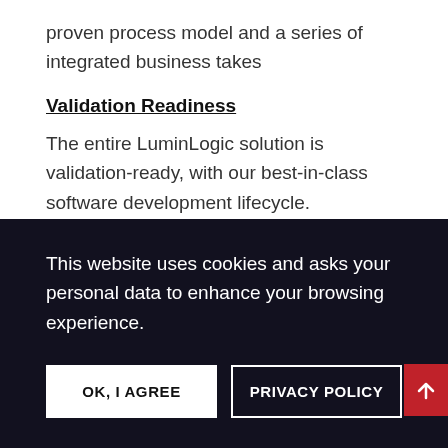proven process model and a series of integrated business takes
Validation Readiness
The entire LuminLogic solution is validation-ready, with our best-in-class software development lifecycle.
Developing and maintaining your Quality Management System can be overwhelming. Add
This website uses cookies and asks your personal data to enhance your browsing experience.
OK, I AGREE
PRIVACY POLICY